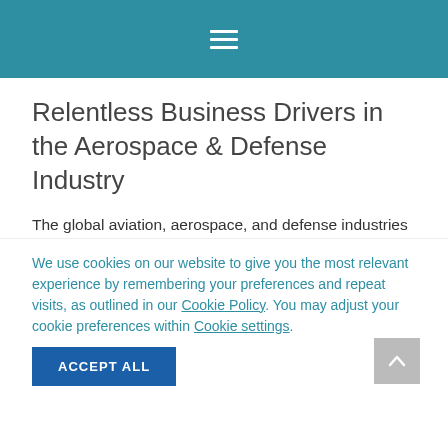≡
Relentless Business Drivers in the Aerospace & Defense Industry
The global aviation, aerospace, and defense industries face unrelenting pressure for ever-increasing levels of operational performance, lifecycle reliability, and mission robustness in their products, platforms, and programs delivered to commercial and military customers. This is occurring concurrently with greater demand for overall system performance that is faster, lighter, quieter,
We use cookies on our website to give you the most relevant experience by remembering your preferences and repeat visits, as outlined in our Cookie Policy. You may adjust your cookie preferences within Cookie settings.
ACCEPT ALL